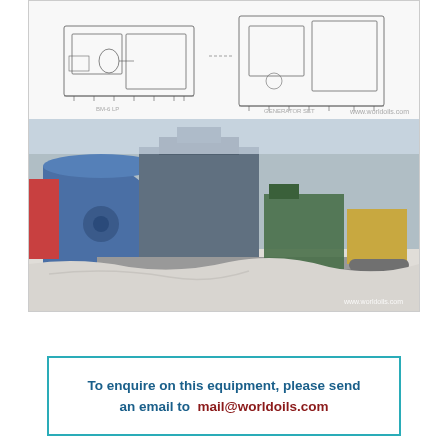[Figure (schematic): Technical schematic line drawing of industrial pump/mud pump equipment showing two unit views side by side with watermark www.worldoils.com]
[Figure (photo): Photograph of large industrial equipment (mud pump or similar) with blue motor housing and grey metal components on white tarpaulin, with yellow container in background. Watermark: www.worldoils.com]
To enquire on this equipment, please send an email to mail@worldoils.com